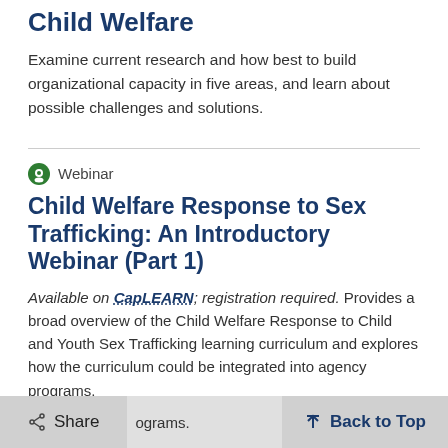Child Welfare
Examine current research and how best to build organizational capacity in five areas, and learn about possible challenges and solutions.
Webinar
Child Welfare Response to Sex Trafficking: An Introductory Webinar (Part 1)
Available on CapLEARN; registration required. Provides a broad overview of the Child Welfare Response to Child and Youth Sex Trafficking learning curriculum and explores how the curriculum could be integrated into agency programs.
Share    Back to Top